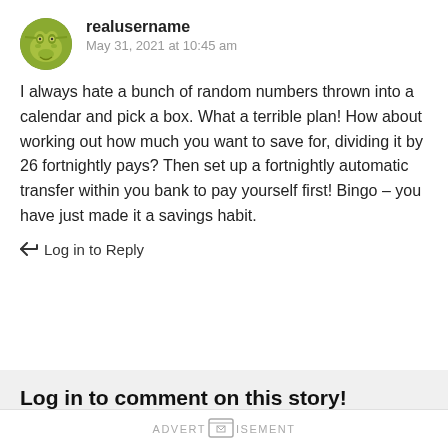[Figure (photo): Round avatar image of a cartoon character (Shrek) with green face]
realusername
May 31, 2021 at 10:45 am
I always hate a bunch of random numbers thrown into a calendar and pick a box. What a terrible plan! How about working out how much you want to save for, dividing it by 26 fortnightly pays? Then set up a fortnightly automatic transfer within you bank to pay yourself first! Bingo – you have just made it a savings habit.
Log in to Reply
Log in to comment on this story!
Log in
ADVERTISEMENT